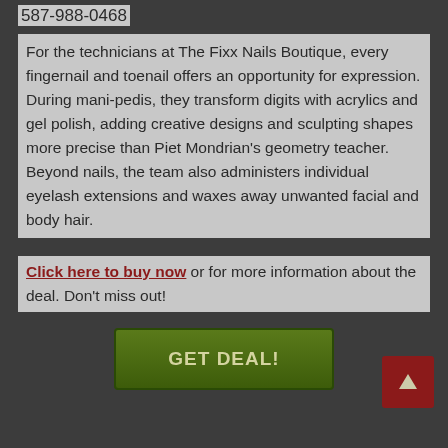587-988-0468
For the technicians at The Fixx Nails Boutique, every fingernail and toenail offers an opportunity for expression. During mani-pedis, they transform digits with acrylics and gel polish, adding creative designs and sculpting shapes more precise than Piet Mondrian's geometry teacher. Beyond nails, the team also administers individual eyelash extensions and waxes away unwanted facial and body hair.
Click here to buy now or for more information about the deal. Don't miss out!
[Figure (other): Green GET DEAL! button]
[Figure (other): Dark red upward arrow button in bottom right corner]